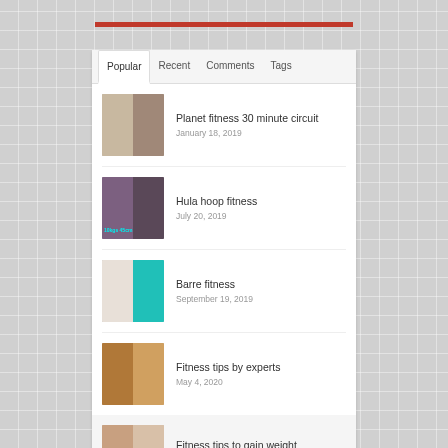[Figure (other): Red horizontal bar decorative divider]
Popular | Recent | Comments | Tags
Planet fitness 30 minute circuit — January 18, 2019
Hula hoop fitness — July 20, 2019
Barre fitness — September 19, 2019
Fitness tips by experts — May 4, 2020
Fitness tips to gain weight